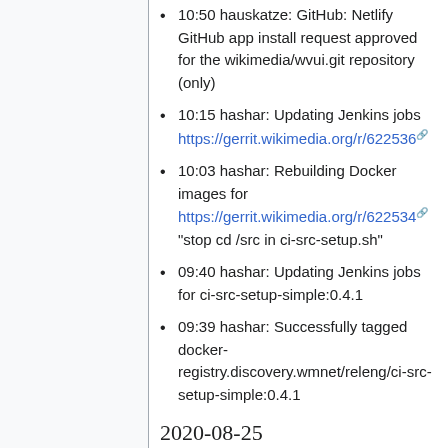10:50 hauskatze: GitHub: Netlify GitHub app install request approved for the wikimedia/wvui.git repository (only)
10:15 hashar: Updating Jenkins jobs https://gerrit.wikimedia.org/r/622536
10:03 hashar: Rebuilding Docker images for https://gerrit.wikimedia.org/r/622534 "stop cd /src in ci-src-setup.sh"
09:40 hashar: Updating Jenkins jobs for ci-src-setup-simple:0.4.1
09:39 hashar: Successfully tagged docker-registry.discovery.wmnet/releng/ci-src-setup-simple:0.4.1
2020-08-25